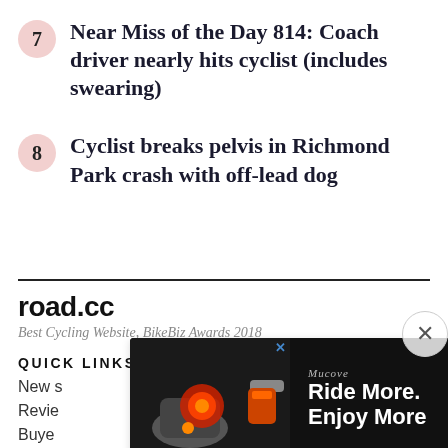7 Near Miss of the Day 814: Coach driver nearly hits cyclist (includes swearing)
8 Cyclist breaks pelvis in Richmond Park crash with off-lead dog
road.cc
Best Cycling Website, BikeBiz Awards 2018
QUICK LINKS
News
Reviews
Buyers
[Figure (screenshot): Advertisement overlay showing a bike light product with text 'Ride More. Enjoy More' on dark background with close button]